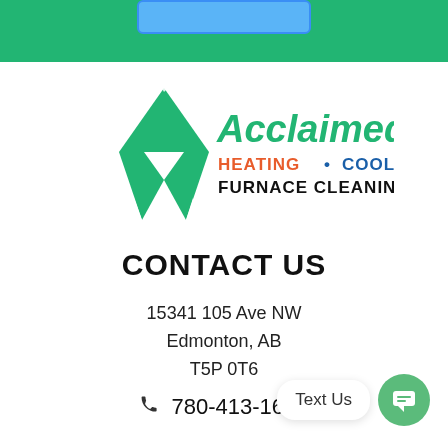[Figure (logo): Acclaimed! Heating • Cooling Furnace Cleaning logo with green ribbon/award shape]
CONTACT US
15341 105 Ave NW
Edmonton, AB
T5P 0T6
780-413-1655